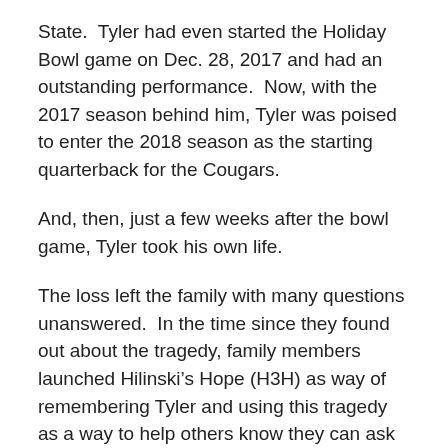State.  Tyler had even started the Holiday Bowl game on Dec. 28, 2017 and had an outstanding performance.  Now, with the 2017 season behind him, Tyler was poised to enter the 2018 season as the starting quarterback for the Cougars.
And, then, just a few weeks after the bowl game, Tyler took his own life.
The loss left the family with many questions unanswered.  In the time since they found out about the tragedy, family members launched Hilinski’s Hope (H3H) as way of remembering Tyler and using this tragedy as a way to help others know they can ask for help.